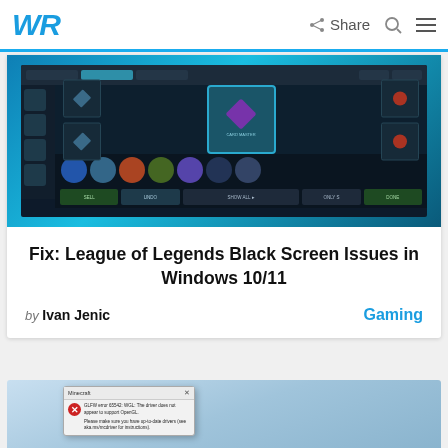WR | Share
[Figure (screenshot): League of Legends in-game store screenshot showing champion items and selection UI]
Fix: League of Legends Black Screen Issues in Windows 10/11
by Ivan Jenic
Gaming
[Figure (screenshot): Minecraft error dialog: GLFW error 65542: WGL: The driver does not appear to support OpenGL. Please make sure you have up-to-date drivers (see aka.ms/mcdriver for instructions).]